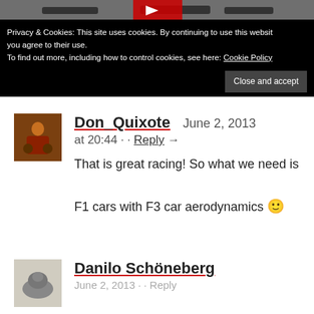[Figure (screenshot): Top strip showing partial race car image with YouTube play button overlay]
Privacy & Cookies: This site uses cookies. By continuing to use this website you agree to their use.
To find out more, including how to control cookies, see here: Cookie Policy
Close and accept
Don_Quixote  June 2, 2013 at 20:44 ··  Reply →
That is great racing! So what we need is F1 cars with F3 car aerodynamics 🙂
Danilo Schöneberg